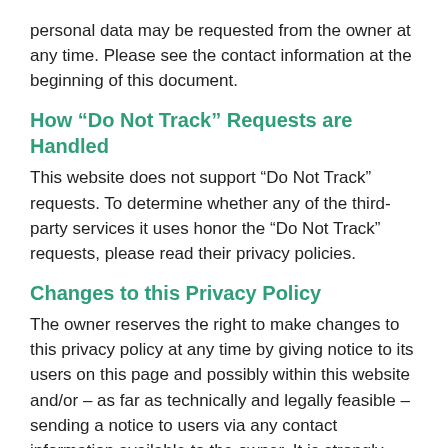personal data may be requested from the owner at any time. Please see the contact information at the beginning of this document.
How “Do Not Track” Requests are Handled
This website does not support “Do Not Track” requests. To determine whether any of the third-party services it uses honor the “Do Not Track” requests, please read their privacy policies.
Changes to this Privacy Policy
The owner reserves the right to make changes to this privacy policy at any time by giving notice to its users on this page and possibly within this website and/or – as far as technically and legally feasible – sending a notice to users via any contact information available to the owner. It is strongly recommended to check this page often, referring to the date of the last modification listed at the bottom.
Should the changes affect processing activities performed